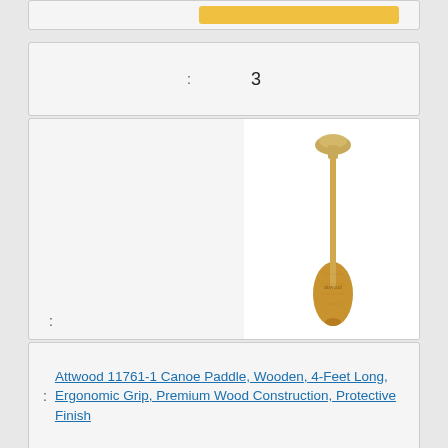[Figure (screenshot): Top partial card with yellow button at top of page]
: 3
[Figure (photo): Wooden canoe paddle product photo, tan/natural wood color, ergonomic T-grip handle at top, wide blade at bottom]
: Attwood 11761-1 Canoe Paddle, Wooden, 4-Feet Long, Ergonomic Grip, Premium Wood Construction, Protective Finish
: $18.77